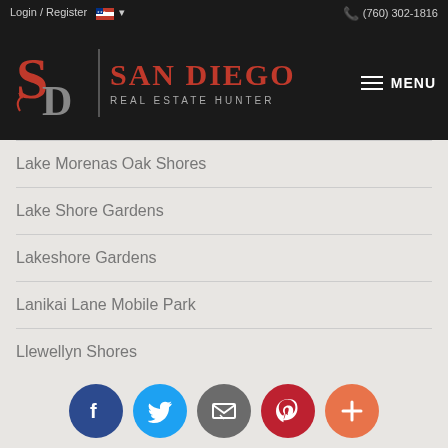Login / Register  (760) 302-1816
[Figure (logo): San Diego Real Estate Hunter logo with SD monogram and red text on black background]
Lake Morenas Oak Shores
Lake Shore Gardens
Lakeshore Gardens
Lanikai Lane Mobile Park
Llewellyn Shores
Monarch Villas
Mystic Point
[Figure (infographic): Social media share buttons: Facebook, Twitter, Email, Pinterest, More (+)]